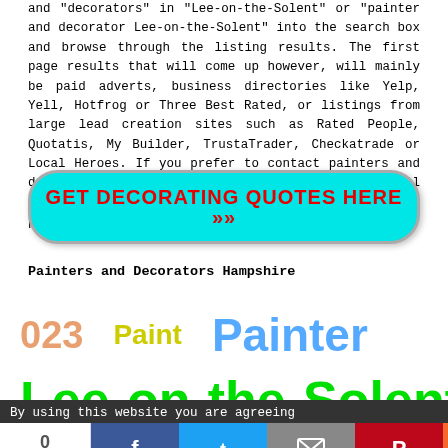and decorators in Lee-on-the-Solent or painter and decorator Lee-on-the-Solent" into the search box and browse through the listing results. The first page results that will come up however, will mainly be paid adverts, business directories like Yelp, Yell, Hotfrog or Three Best Rated, or listings from large lead creation sites such as Rated People, Quotatis, My Builder, TrustaTrader, Checkatrade or Local Heroes. If you prefer to contact painters and decorators in Lee-on-the-Solent directly, you will need to look further down the search engine results pages, possibly page two or three.
[Figure (other): Cyan rounded-rectangle call-to-action button with red bold text: GET DECORATING QUOTES HERE >>]
Painters and Decorators Hampshire
[Figure (logo): Logo strip with '023' in orange, 'Paint' in yellow, 'Painter' in blue, and 'Lee-on-the-Solent' in green below]
By using this website you are agreeing
[Figure (other): Social sharing bar with share count 0 SHARES, Facebook, Twitter, Email, Pinterest, and More buttons]